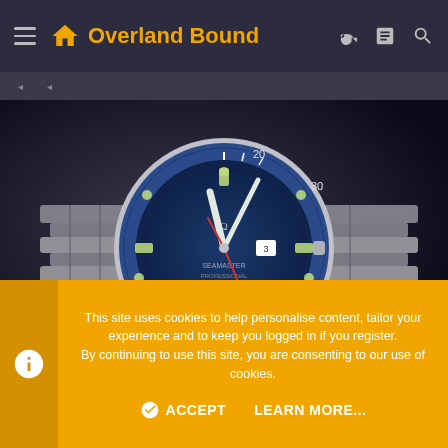Overland Bound
[Figure (photo): Omega Seamaster watch with blue dial and stainless steel bracelet, photographed on a reflective dark surface]
This site uses cookies to help personalise content, tailor your experience and to keep you logged in if you register. By continuing to use this site, you are consenting to our use of cookies.
ACCEPT   LEARN MORE...